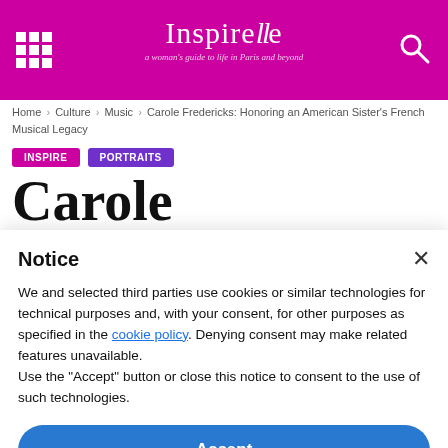Inspirelle — a woman's guide to life in Paris and beyond
Home › Culture › Music › Carole Fredericks: Honoring an American Sister's French Musical Legacy
INSPIRE
PORTRAITS
Carole Fredericks:
Notice
We and selected third parties use cookies or similar technologies for technical purposes and, with your consent, for other purposes as specified in the cookie policy. Denying consent may make related features unavailable.
Use the "Accept" button or close this notice to consent to the use of such technologies.
Accept
Learn more and customize